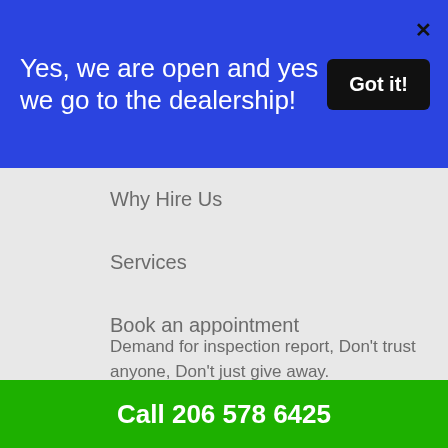Yes, we are open and yes we go to the dealership!
Why Hire Us
Services
Book an appointment
Blog
Contact
Demand for inspection report, Don't trust anyone, Don't just give away.
Your Hard Earned Money!!!
Call 206 578 6425